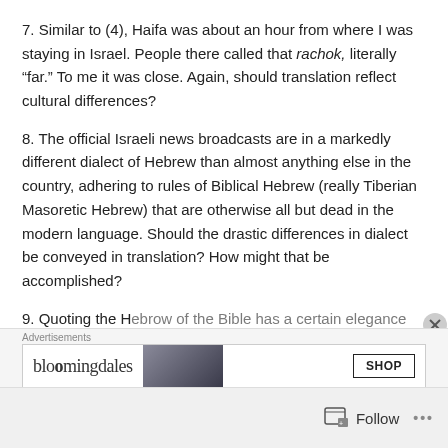7. Similar to (4), Haifa was about an hour from where I was staying in Israel. People there called that rachok, literally “far.” To me it was close. Again, should translation reflect cultural differences?
8. The official Israeli news broadcasts are in a markedly different dialect of Hebrew than almost anything else in the country, adhering to rules of Biblical Hebrew (really Tiberian Masoretic Hebrew) that are otherwise all but dead in the modern language. Should the drastic differences in dialect be conveyed in translation? How might that be accomplished?
9. Quoting the Hebrew of the Bible has a certain elegance
[Figure (infographic): Bloomingdale's advertisement banner with logo, model photo, and SHOP button]
Follow ...